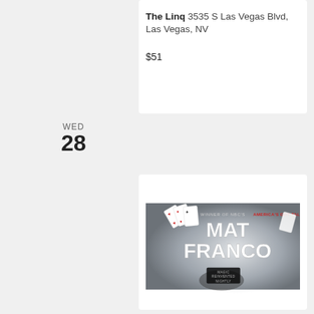The Linq 3535 S Las Vegas Blvd, Las Vegas, NV
$51
WED
28
[Figure (photo): Promotional image for Mat Franco - Magic Reinvented Nightly show. Shows Mat Franco holding playing cards with text 'WINNER OF NBC'S AMERICA'S GOT TALENT!' at top and 'MAT FRANCO' in large letters, 'MAGIC REINVENTED NIGHTLY' text below.]
September 28 @ 7:00 pm - 8:30 pm ↻
Mat Franco – Magic Reinvented Nightly | 18% Off Tickets
The Linq 3535 S Las Vegas Blvd, Las Vegas, NV
$51